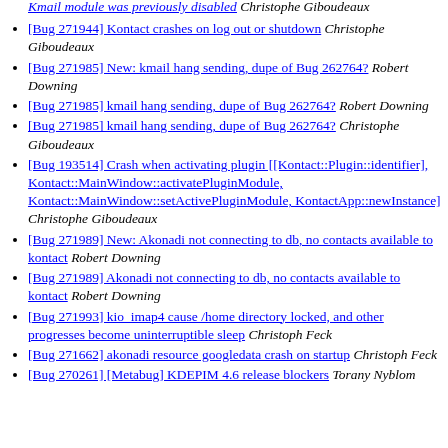Kmail module was previously disabled  Christophe Giboudeaux
[Bug 271944] Kontact crashes on log out or shutdown  Christophe Giboudeaux
[Bug 271985] New: kmail hang sending, dupe of Bug 262764?  Robert Downing
[Bug 271985] kmail hang sending, dupe of Bug 262764?  Robert Downing
[Bug 271985] kmail hang sending, dupe of Bug 262764?  Christophe Giboudeaux
[Bug 193514] Crash when activating plugin [[Kontact::Plugin::identifier], Kontact::MainWindow::activatePluginModule, Kontact::MainWindow::setActivePluginModule, KontactApp::newInstance]  Christophe Giboudeaux
[Bug 271989] New: Akonadi not connecting to db, no contacts available to kontact  Robert Downing
[Bug 271989] Akonadi not connecting to db, no contacts available to kontact  Robert Downing
[Bug 271993] kio_imap4 cause /home directory locked, and other progresses become uninterruptible sleep  Christoph Feck
[Bug 271662] akonadi resource googledata crash on startup  Christoph Feck
[Bug 270261] [Metabug] KDEPIM 4.6 release blockers  Torany Nyblom